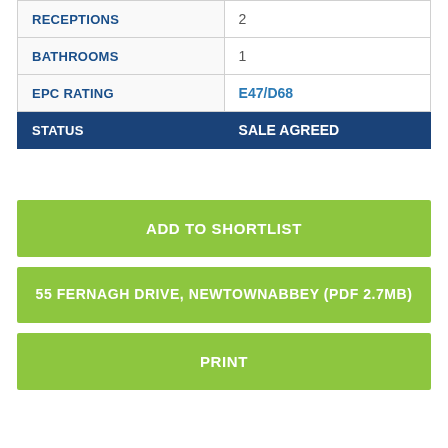| Field | Value |
| --- | --- |
| RECEPTIONS | 2 |
| BATHROOMS | 1 |
| EPC RATING | E47/D68 |
| STATUS | SALE AGREED |
ADD TO SHORTLIST
55 FERNAGH DRIVE, NEWTOWNABBEY (PDF 2.7MB)
PRINT